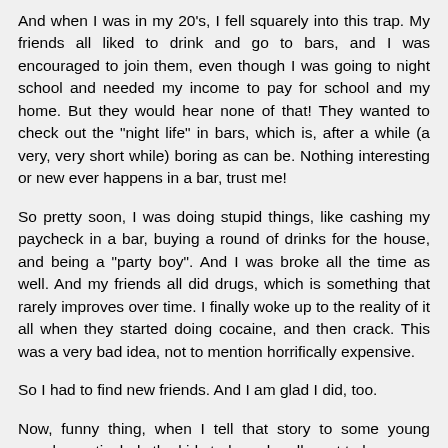And when I was in my 20's, I fell squarely into this trap.  My friends all liked to drink and go to bars, and I was encouraged to join them, even though I was going to night school and needed my income to pay for school and my home.  But they would hear none of that!  They wanted to check out the "night life" in bars, which is, after a while (a very, very short while) boring as can be.  Nothing interesting or new ever happens in a bar, trust me!
So pretty soon, I was doing stupid things, like cashing my paycheck in a bar, buying a round of drinks for the house, and being a "party boy".  And I was broke all the time as well.  And my friends all did drugs, which is something that rarely improves over time.  I finally woke up to the reality of it all when they started doing cocaine, and then crack.  This was a very bad idea, not to mention horrifically expensive.
So I had to find new friends.  And I am glad I did, too.
Now, funny thing, when I tell that story to some young people, particularly the kids today, who all want to be